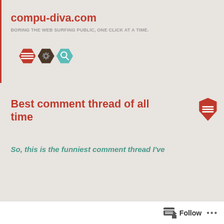compu-diva.com
BORING THE WEB SURFING PUBLIC, ONE CLICK AT A TIME.
[Figure (illustration): Three hexagon icons in a row: red with menu lines, dark brown with gear, teal with magnifying glass]
Best comment thread of all time
[Figure (illustration): Red hexagon icon with menu/text lines]
So, this is the funniest comment thread I've
Follow ...